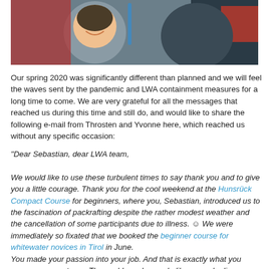[Figure (photo): Outdoor photo of smiling man in winter gear with other people in background]
Our spring 2020 was significantly different than planned and we will feel the waves sent by the pandemic and LWA containment measures for a long time to come. We are very grateful for all the messages that reached us during this time and still do, and would like to share the following e-mail from Throsten and Yvonne here, which reached us without any specific occasion:
"Dear Sebastian, dear LWA team,

We would like to use these turbulent times to say thank you and to give you a little courage. Thank you for the cool weekend at the Hunsrück Compact Course for beginners, where you, Sebastian, introduced us to the fascination of packrafting despite the rather modest weather and the cancellation of some participants due to illness. ☺ We were immediately so fixated that we booked the beginner course for whitewater novices in Tirol in June.
You made your passion into your job. And that is exactly what you convey on your tours. The world needs people like you, who live your passion, inspire and take with you people. From the bottom of